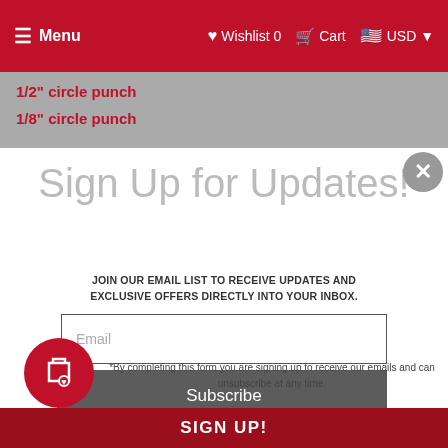Menu  Wishlist 0  Cart  USD
1/2" circle punch
1/8" circle punch
Sign Up for Updates!
JOIN OUR EMAIL LIST TO RECEIVE UPDATES AND EXCLUSIVE OFFERS DIRECTLY INTO YOUR INBOX.
Email
Subscribe
*By completing this form you are signing up to receive our emails and can unsubscribe at any time.
SIGN UP!